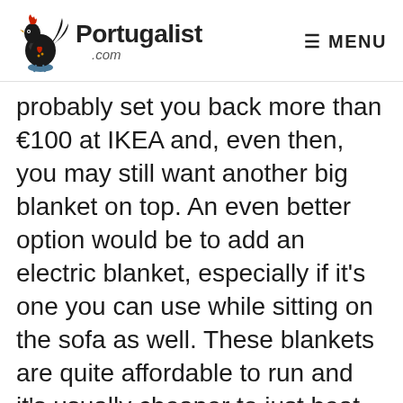Portugalist .com | MENU
probably set you back more than €100 at IKEA and, even then, you may still want another big blanket on top. An even better option would be to add an electric blanket, especially if it's one you can use while sitting on the sofa as well. These blankets are quite affordable to run and it's usually cheaper to just heat an electric blanket than to try and